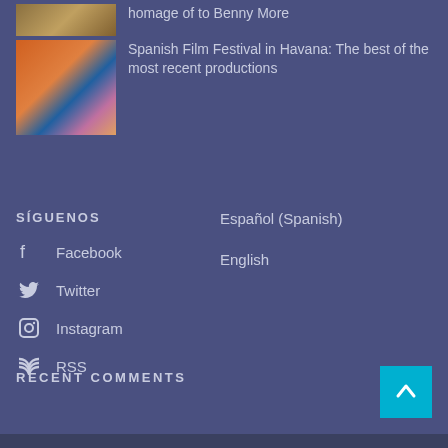[Figure (photo): Thumbnail image for article about homage to Benny More]
homage of to Benny More
[Figure (photo): Thumbnail collage image for Spanish Film Festival article with movie posters]
Spanish Film Festival in Havana: The best of the most recent productions
SÍGUENOS
Facebook
Twitter
Instagram
RSS
Español (Spanish)
English
RECENT COMMENTS
[Figure (other): Back to top button with upward arrow]